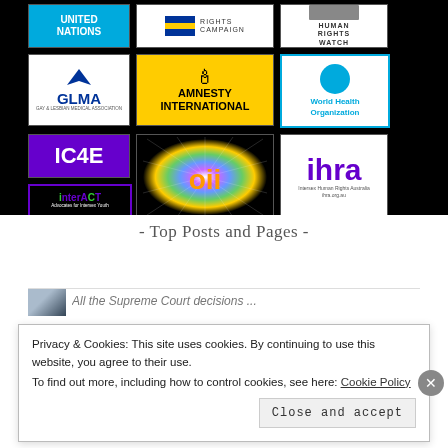[Figure (logo): Grid of organization logos on black background: United Nations, Human Rights Campaign, Human Rights Watch, GLMA (Gay & Lesbian Medical Association), Amnesty International, World Health Organization, IC4E, OII, IHRA (Intersex Human Rights Australia), interACT Advocates for Intersex Youth]
- Top Posts and Pages -
[Figure (photo): Thumbnail image for a top post]
All the Supreme Court decisions ...
Privacy & Cookies: This site uses cookies. By continuing to use this website, you agree to their use.
To find out more, including how to control cookies, see here: Cookie Policy
Close and accept